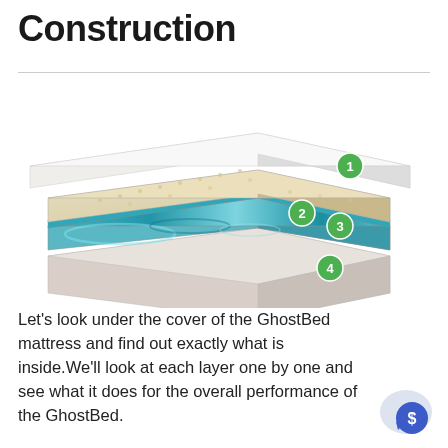Construction
[Figure (illustration): Exploded view diagram of a GhostBed mattress showing 4 numbered layers: (1) white top cover, (2) latex layer with waffle texture, (3) gel memory foam layer with blue swirl pattern, (4) base foam layer in grey/beige. Green numbered circles label each layer.]
Let’s look under the cover of the GhostBed mattress and find out exactly what is inside.We’ll look at each layer one by one and see what it does for the overall performance of the GhostBed.